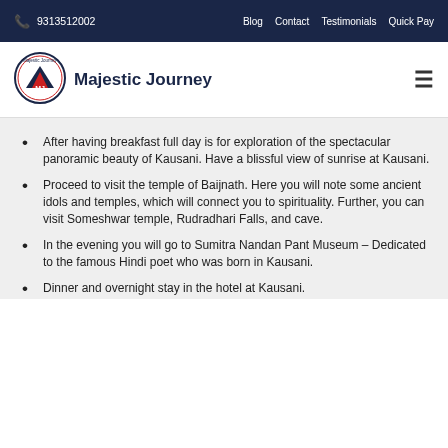9313512002   Blog   Contact   Testimonials   Quick Pay
[Figure (logo): Majestic Journey logo — circular badge with mountains and MJ initials]
Majestic Journey
After having breakfast full day is for exploration of the spectacular panoramic beauty of Kausani. Have a blissful view of sunrise at Kausani.
Proceed to visit the temple of Baijnath. Here you will note some ancient idols and temples, which will connect you to spirituality. Further, you can visit Someshwar temple, Rudradhari Falls, and cave.
In the evening you will go to Sumitra Nandan Pant Museum – Dedicated to the famous Hindi poet who was born in Kausani.
Dinner and overnight stay in the hotel at Kausani.